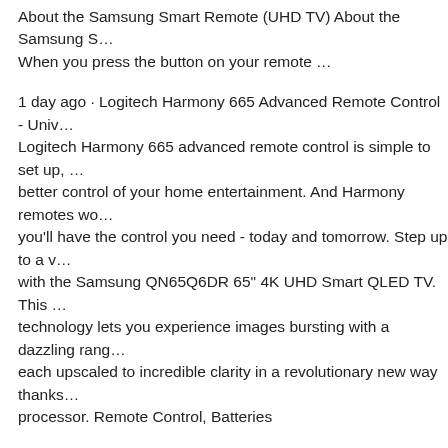About the Samsung Smart Remote (UHD TV) About the Samsung S… When you press the button on your remote …
1 day ago · Logitech Harmony 665 Advanced Remote Control - Univ… Logitech Harmony 665 advanced remote control is simple to set up, … better control of your home entertainment. And Harmony remotes wo… you'll have the control you need - today and tomorrow. Step up to a v… with the Samsung QN65Q6DR 65" 4K UHD Smart QLED TV. This … technology lets you experience images bursting with a dazzling rang… each upscaled to incredible clarity in a revolutionary new way thanks … processor. Remote Control, Batteries
1 day ago · Logitech Harmony 665 Advanced Remote Control - Univ… Logitech Harmony 665 advanced remote control is simple to set up, … better control of your home entertainment. And Harmony remotes wo… you'll have the control you need - today and tomorrow. Samsung QN… Q60R QLED Smart 4K UHD TV - User Manual - User Guide PDF d… MANUAL About the Samsung Smart Remote (UHD TV) About the … Frame) Connecting to the Samsung Smart Remote Controlling Exter… Remote Control Using the Universal Remote …